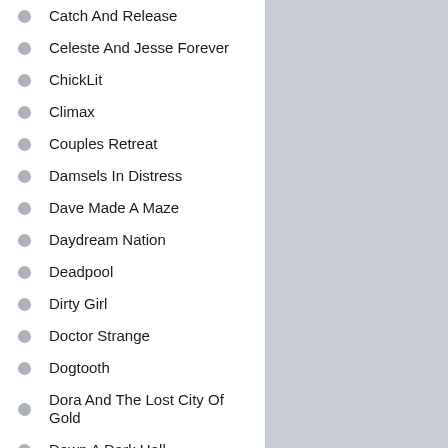Catch And Release
Celeste And Jesse Forever
ChickLit
Climax
Couples Retreat
Damsels In Distress
Dave Made A Maze
Daydream Nation
Deadpool
Dirty Girl
Doctor Strange
Dogtooth
Dora And The Lost City Of Gold
Down A Dark Hall
Fanny Lye Deliver'd
February
Final Girl
First Men In The Moon
Freaks Of Nature
Frozen In Love
Get Outta It